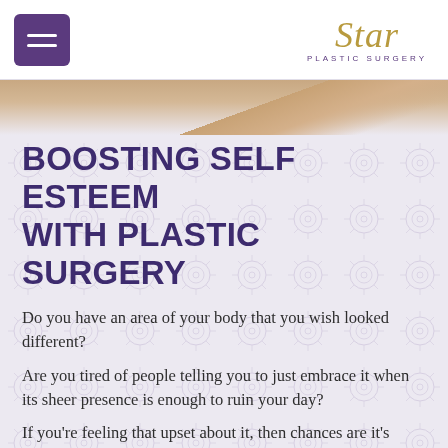[Figure (logo): Star Plastic Surgery logo with italic gold script and purple subtitle]
[Figure (photo): Hero image strip showing partial view of a person's body/shoulder area]
BOOSTING SELF ESTEEM WITH PLASTIC SURGERY
Do you have an area of your body that you wish looked different?
Are you tired of people telling you to just embrace it when its sheer presence is enough to ruin your day?
If you're feeling that upset about it, then chances are it's impacting your self-esteem.
You don't need to let how you feel from...